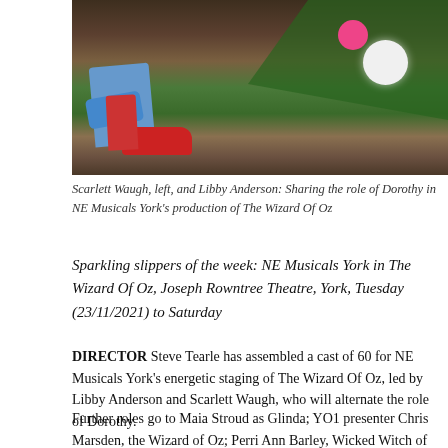[Figure (photo): Photo showing colorful socks and red shoes of a child among garden foliage and flowers — relates to Dorothy character from The Wizard of Oz production.]
Scarlett Waugh, left, and Libby Anderson: Sharing the role of Dorothy in NE Musicals York's production of The Wizard Of Oz
Sparkling slippers of the week: NE Musicals York in The Wizard Of Oz, Joseph Rowntree Theatre, York, Tuesday (23/11/2021) to Saturday
DIRECTOR Steve Tearle has assembled a cast of 60 for NE Musicals York's energetic staging of The Wizard Of Oz, led by Libby Anderson and Scarlett Waugh, who will alternate the role of Dorothy.
Further roles go to Maia Stroud as Glinda; YO1 presenter Chris Marsden, the Wizard of Oz; Perri Ann Barley, Wicked Witch of the West; Fisher, Dot the S...